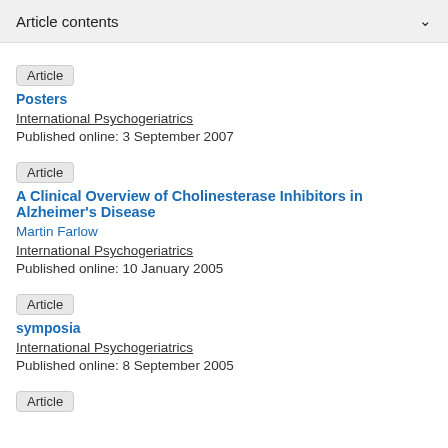Article contents
Article
Posters
International Psychogeriatrics
Published online: 3 September 2007
Article
A Clinical Overview of Cholinesterase Inhibitors in Alzheimer's Disease
Martin Farlow
International Psychogeriatrics
Published online: 10 January 2005
Article
symposia
International Psychogeriatrics
Published online: 8 September 2005